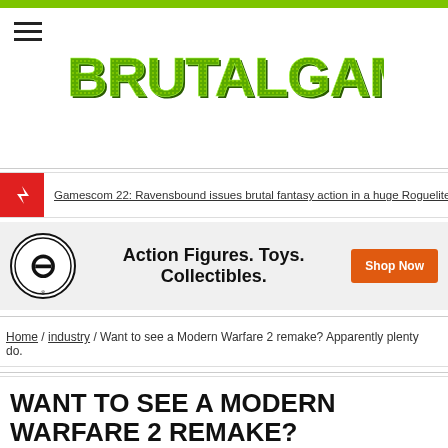[Figure (logo): BrutalGamer logo in green pixel/mosaic style lettering]
Gamescom 22: Ravensbound issues brutal fantasy action in a huge Roguelite v
[Figure (infographic): Advertisement banner: Enamel logo with Action Figures. Toys. Collectibles. and Shop Now button]
Home / industry / Want to see a Modern Warfare 2 remake? Apparently plenty do.
WANT TO SEE A MODERN WARFARE 2 REMAKE?